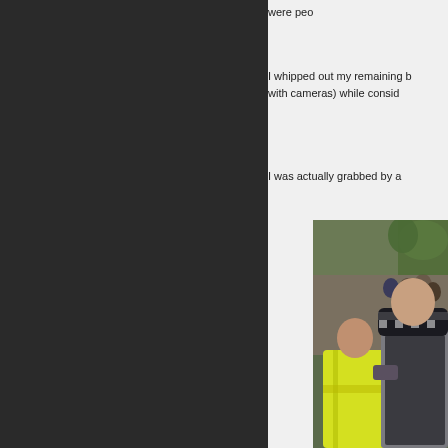were peo
I whipped out my remaining b with cameras) while consid
I was actually grabbed by a
[Figure (photo): A person in a high-visibility yellow jacket being confronted or detained by a police officer in a black uniform and checkered police hat, with a crowd of people visible in the background.]